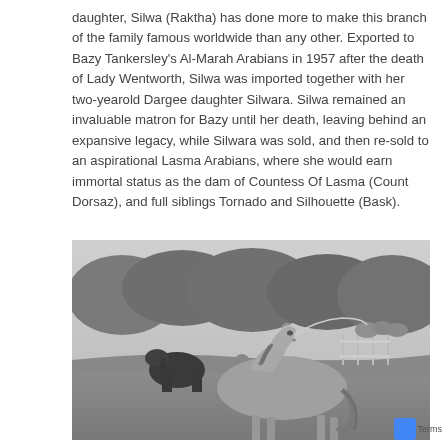daughter, Silwa (Raktha) has done more to make this branch of the family famous worldwide than any other. Exported to Bazy Tankersley's Al-Marah Arabians in 1957 after the death of Lady Wentworth, Silwa was imported together with her two-yearold Dargee daughter Silwara. Silwa remained an invaluable matron for Bazy until her death, leaving behind an expansive legacy, while Silwara was sold, and then re-sold to an aspirational Lasma Arabians, where she would earn immortal status as the dam of Countess Of Lasma (Count Dorsaz), and full siblings Tornado and Silhouette (Bask).
[Figure (photo): Black and white photograph of an Arabian horse standing in profile on a grass field, held by a lead rope. Other horses and people are visible in the background, along with trees and fencing.]